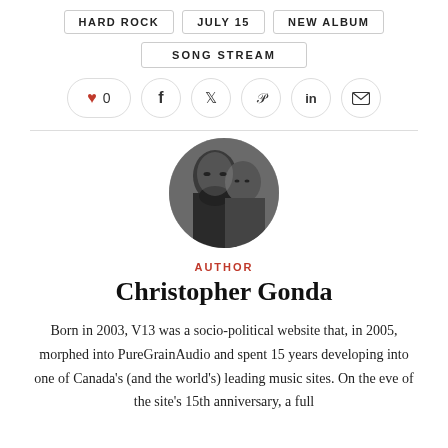HARD ROCK
JULY 15
NEW ALBUM
SONG STREAM
[Figure (other): Social sharing icons row: heart/like button with count 0, facebook, twitter, pinterest, linkedin, email]
[Figure (photo): Circular black and white portrait photo of two people, a bearded man and a woman]
AUTHOR
Christopher Gonda
Born in 2003, V13 was a socio-political website that, in 2005, morphed into PureGrainAudio and spent 15 years developing into one of Canada's (and the world's) leading music sites. On the eve of the site's 15th anniversary, a full